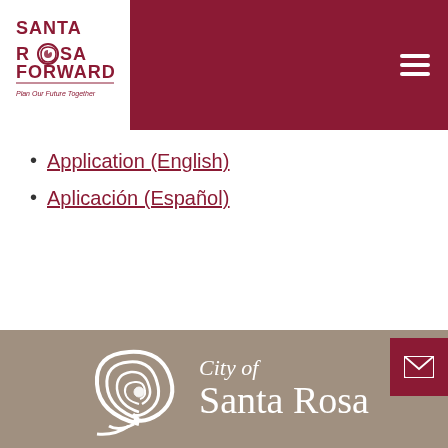[Figure (logo): Santa Rosa Forward logo with rose graphic and tagline 'Plan Our Future Together']
Application (English)
Aplicación (Español)
[Figure (logo): City of Santa Rosa logo with white rose graphic on tan/taupe background footer]